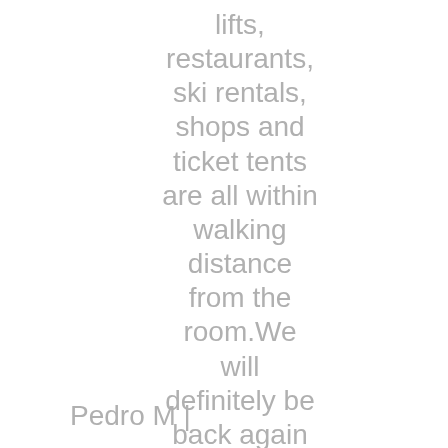lifts, restaurants, ski rentals, shops and ticket tents are all within walking distance from the room.We will definitely be back again in the near future.
Pedro M |